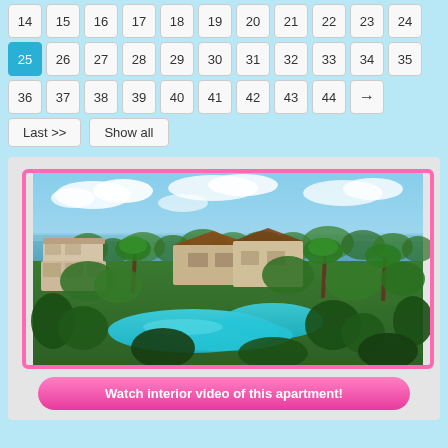14 15 16 17 18 19 20 21 22 23 24
25 (active) 26 27 28 29 30 31 32 33 34 35
36 37 38 39 40 41 42 43 44 →
Last >> | Show all
[Figure (photo): Aerial view of a tropical resort with swimming pools, lush greenery, resort buildings with terracotta rooftops, and the ocean/sea visible in the background under a partly cloudy sky.]
Watch interior video of this apartment!